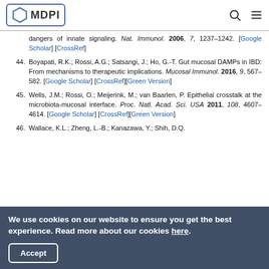MDPI
dangers of innate signaling. Nat. Immunol. 2006, 7, 1237–1242. [Google Scholar] [CrossRef]
44. Boyapati, R.K.; Rossi, A.G.; Satsangi, J.; Ho, G.-T. Gut mucosal DAMPs in IBD: From mechanisms to therapeutic implications. Mucosal Immunol. 2016, 9, 567–582. [Google Scholar] [CrossRef][Green Version]
45. Wells, J.M.; Rossi, O.; Meijerink, M.; van Baarlen, P. Epithelial crosstalk at the microbiota-mucosal interface. Proc. Natl. Acad. Sci. USA 2011, 108, 4607–4614. [Google Scholar] [CrossRef][Green Version]
46. Wallace, K.L.; Zheng, L.-B.; Kanazawa, Y.; Shih, D.Q.
We use cookies on our website to ensure you get the best experience. Read more about our cookies here.